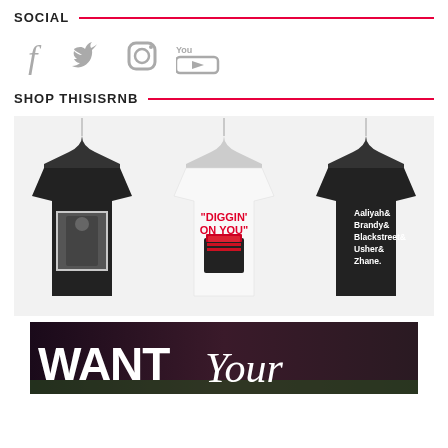SOCIAL
[Figure (illustration): Social media icons: Facebook, Twitter, Instagram, YouTube]
SHOP THISISRNB
[Figure (photo): Three t-shirts on hangers: black shirt with photo print, white shirt with 'DIGGIN ON YOU' text and record crate graphic, black shirt with artist names Aaliyah& Brandy& Blackstreet& Usher& Zhane.]
[Figure (photo): Dark banner with 'WANT Your' text in large white letters]